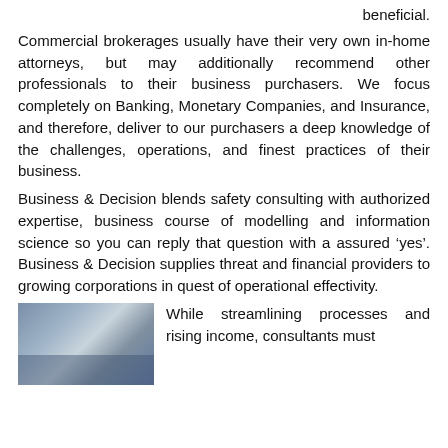beneficial.
Commercial brokerages usually have their very own in-home attorneys, but may additionally recommend other professionals to their business purchasers. We focus completely on Banking, Monetary Companies, and Insurance, and therefore, deliver to our purchasers a deep knowledge of the challenges, operations, and finest practices of their business.
Business & Decision blends safety consulting with authorized expertise, business course of modelling and information science so you can reply that question with a assured ‘yes’. Business & Decision supplies threat and financial providers to growing corporations in quest of operational effectivity.
[Figure (photo): Photo of financial documents, papers, and office supplies on a desk]
While streamlining processes and rising income, consultants must